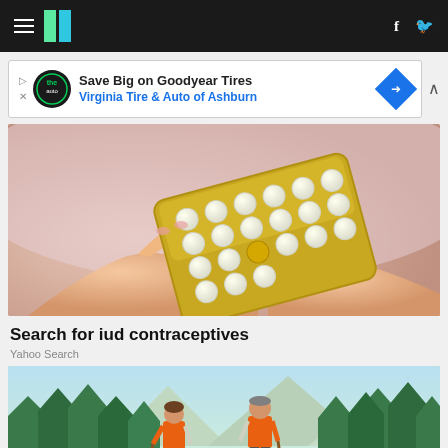HuffPost navigation with hamburger menu, logo, facebook and twitter icons
[Figure (screenshot): Advertisement banner: Save Big on Goodyear Tires - Virginia Tire & Auto of Ashburn]
[Figure (photo): Hands holding a blister pack of birth control pills (gold packaging with white pills)]
Search for iud contraceptives
Yahoo Search
[Figure (illustration): Two people in orange vests standing in a forest landscape illustration]